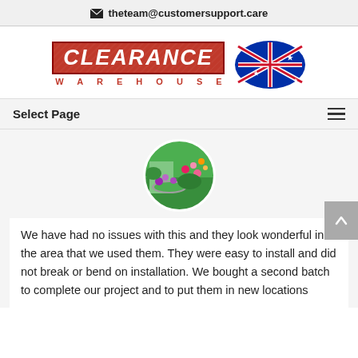✉ theteam@customersupport.care
[Figure (logo): Clearance Warehouse logo with Australian flag]
Select Page
[Figure (photo): Circular photo of a garden with green lawn, flowers, and stone edging]
We have had no issues with this and they look wonderful in the area that we used them. They were easy to install and did not break or bend on installation. We bought a second batch to complete our project and to put them in new locations